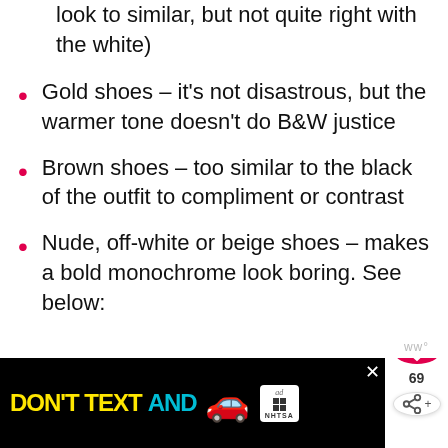look to similar, but not quite right with the white)
Gold shoes – it's not disastrous, but the warmer tone doesn't do B&W justice
Brown shoes – too similar to the black of the outfit to compliment or contrast
Nude, off-white or beige shoes – makes a bold monochrome look boring. See below:
[Figure (other): Gray content placeholder area below the list items]
[Figure (other): Advertisement banner: DON'T TEXT AND [car emoji] with NHTSA ad logo and close button]